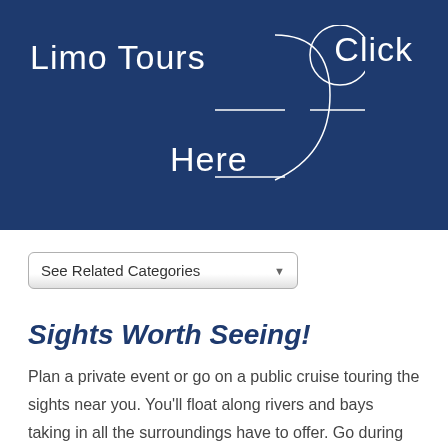Limo Tours   Click Here
[Figure (screenshot): Dark navy blue banner with 'Limo Tours' text on left, 'Click Here' text on right with partial circle graphic, and a curved bracket/arc shape in the center]
[Figure (screenshot): Dropdown selector UI element with text 'See Related Categories' and a dropdown arrow]
Sights Worth Seeing!
Plan a private event or go on a public cruise touring the sights near you. You'll float along rivers and bays taking in all the surroundings have to offer. Go during sunset for even more breath-taking views and a romantic date idea. You could even be served dinner if you plan your cruise accordingly. It's a special adventure that everyone should experience at least once.